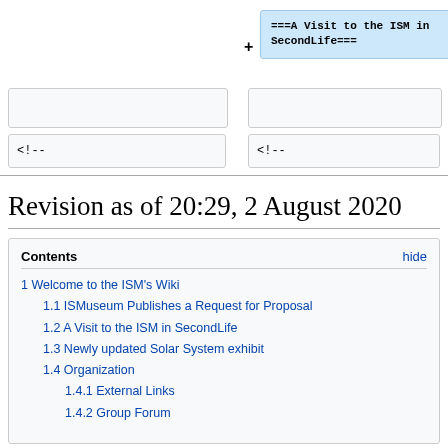===A Visit to the ISM in SecondLife===
<!--
Revision as of 20:29, 2 August 2020
| Contents | hide |
| --- | --- |
| 1 Welcome to the ISM's Wiki |  |
| 1.1 ISMuseum Publishes a Request for Proposal |  |
| 1.2 A Visit to the ISM in SecondLife |  |
| 1.3 Newly updated Solar System exhibit |  |
| 1.4 Organization |  |
| 1.4.1 External Links |  |
| 1.4.2 Group Forum |  |